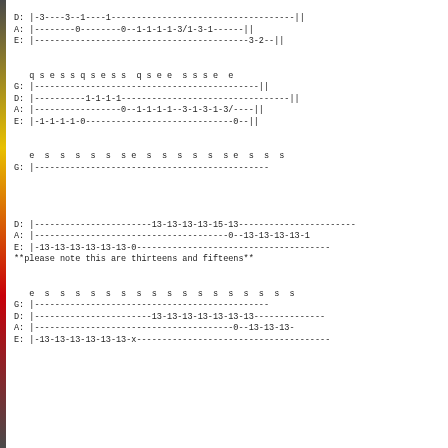D: |-3----3--1----1-------------------------------------|
A: |--------0--------0--1-1-1-1-3/1-3-1------|
E: |------------------------------------------3-2--|
q s e s s q s e s s  q s e e  s s s e  e
G: |--------------------------------------------|
D: |----------1-1-1-1---------------------------------|
A: |-----------------0--1-1-1-1--3-1-3-1-3/----|
E: |-1-1-1-1-0-----------------------------0--|
e  s  s  s  s  s  s e  s  s  s  s  s  s e  s  s  s
G: |----------------------------------------------
D: |-----------------------13-13-13-13-15-13-----------------------
A: |--------------------------------------0--13-13-13-13-1
E: |-13-13-13-13-13-13-0--------------------------------------
**please note this are thirteens and fifteens**
e  s  s  s  s  s  s  s  s  s  s  s  s  s  s  s  s  s
G: |----------------------------------------------
D: |-----------------------13-13-13-13-13-13-13--------------
A: |---------------------------------------0--13-13-13-
E: |-13-13-13-13-13-13-x--------------------------------------